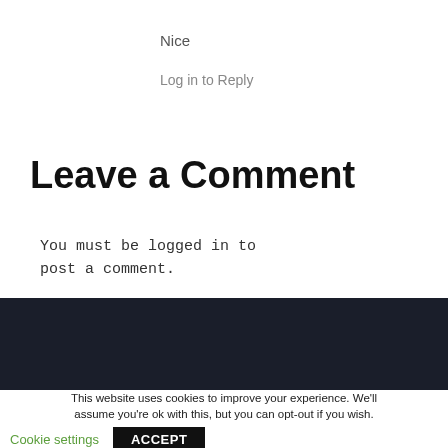Nice
Log in to Reply
Leave a Comment
You must be logged in to post a comment.
This website uses cookies to improve your experience. We'll assume you're ok with this, but you can opt-out if you wish. Cookie settings ACCEPT